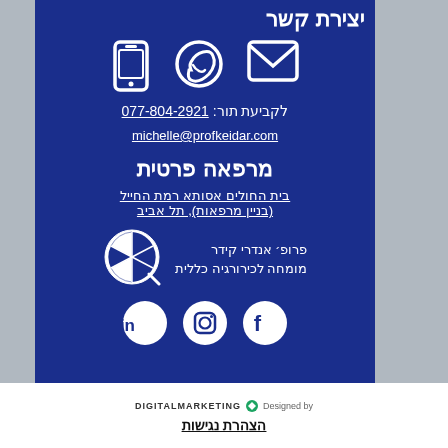יצירת קשר
[Figure (infographic): Three contact icons: envelope (email), WhatsApp phone bubble, mobile phone]
לקביעת תור: 077-804-2921
michelle@profkeidar.com
מרפאה פרטית
בית החולים אסותא רמת החייל
(בניין מרפאות), תל אביב
פרופ׳ אנדרי קידר
מומחה לכירורגיה כללית
[Figure (logo): Prof Keidar logo - circular pie chart style icon]
[Figure (infographic): Social media icons: Facebook, Instagram, LinkedIn]
Designed by C DIGITALMARKETING
הצהרת נגישות